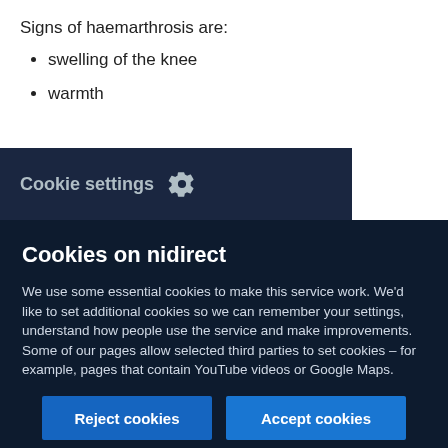Signs of haemarthrosis are:
swelling of the knee
warmth
g, which occur soon after the injury
Cookie settings
Cookies on nidirect
We use some essential cookies to make this service work. We'd like to set additional cookies so we can remember your settings, understand how people use the service and make improvements. Some of our pages allow selected third parties to set cookies – for example, pages that contain YouTube videos or Google Maps.
Find out more about how we use cookies
Reject cookies
Accept cookies